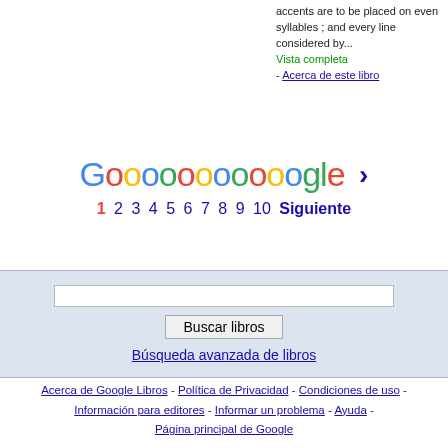accents are to be placed on even syllables ; and every line considered by...
Vista completa
- Acerca de este libro
[Figure (other): Google pagination logo with colored dots spelling Gooooooooooogle and a right arrow, followed by page numbers 1-10 and Siguiente link]
Buscar libros input and button with Búsqueda avanzada de libros link
Acerca de Google Libros - Política de Privacidad - Condiciones de uso - Información para editores - Informar un problema - Ayuda - Página principal de Google